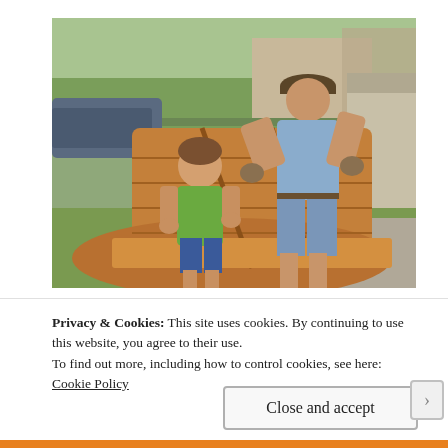[Figure (photo): A man and a young child working together outdoors to build or assemble a large wooden boat or play structure. The man wears a gray t-shirt and cap, the child wears a green shirt. They are in a suburban backyard with a chain-link fence, cars, trees, and a shed visible in the background.]
Privacy & Cookies: This site uses cookies. By continuing to use this website, you agree to their use.
To find out more, including how to control cookies, see here: Cookie Policy
Close and accept